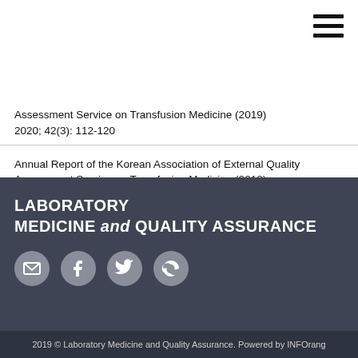[Figure (other): Hamburger menu icon (three horizontal lines) in top right corner]
Assessment Service on Transfusion Medicine (2019)
2020; 42(3): 112-120
Annual Report of the Korean Association of External Quality Assessment Service on Transfusion Medicine (2018)
2019; 41(2): 65-74
LABORATORY
MEDICINE and QUALITY ASSURANCE
[Figure (other): Social media icons: email, facebook, twitter, skype]
2019 © Laboratory Medicine and Quality Assurance. Powered by INFOrang